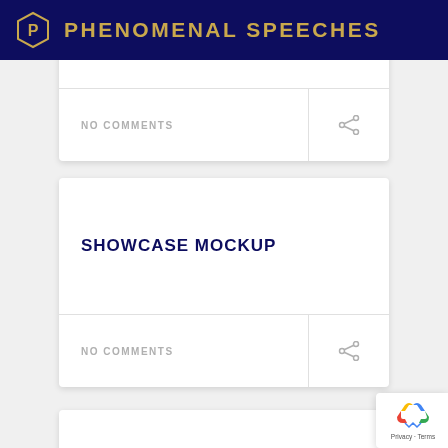PHENOMENAL SPEECHES
NO COMMENTS
SHOWCASE MOCKUP
NO COMMENTS
BOOK MOCKUP
[Figure (logo): reCAPTCHA badge with recycling arrow logo and 'Privacy - Terms' text]